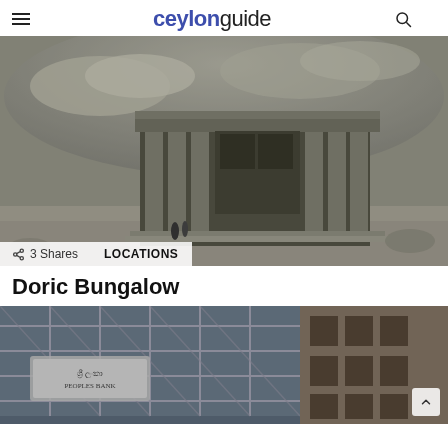ceylonguide
[Figure (photo): Black and white engraving of the Doric Bungalow, a neoclassical building with large columns, set against a dramatic cloudy sky. Two figures stand in the foreground. Overlaid badges show '3 Shares' and 'LOCATIONS'.]
Doric Bungalow
[Figure (photo): Partial view of a modern building exterior with a grid ceiling structure and what appears to a bank sign in Sinhala script, alongside the facade of an older building.]